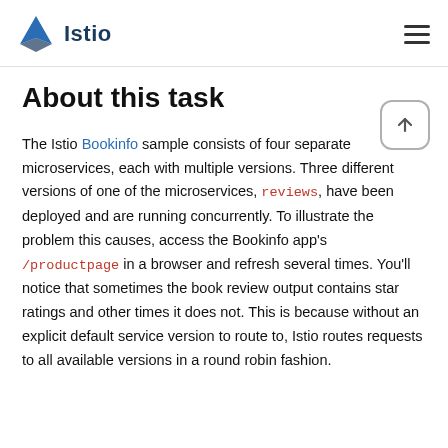Istio
About this task
The Istio Bookinfo sample consists of four separate microservices, each with multiple versions. Three different versions of one of the microservices, reviews, have been deployed and are running concurrently. To illustrate the problem this causes, access the Bookinfo app's /productpage in a browser and refresh several times. You'll notice that sometimes the book review output contains star ratings and other times it does not. This is because without an explicit default service version to route to, Istio routes requests to all available versions in a round robin fashion.